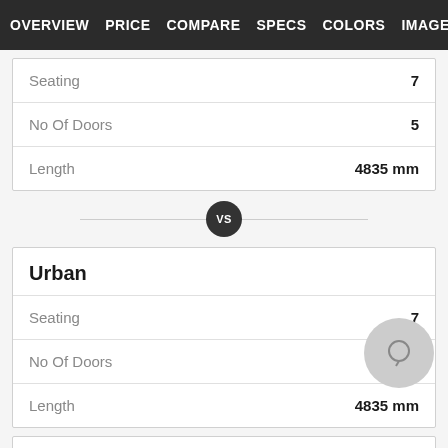OVERVIEW  PRICE  COMPARE  SPECS  COLORS  IMAGE
| Spec | Value |
| --- | --- |
| Seating | 7 |
| No Of Doors | 5 |
| Length | 4835 mm |
VS
Urban
| Spec | Value |
| --- | --- |
| Seating | 7 |
| No Of Doors | 5 |
| Length | 4835 mm |
Urban Plus
| Spec | Value |
| --- | --- |
| Seating | 7 |